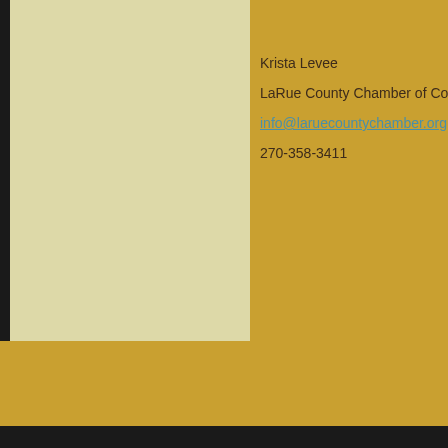Krista Levee
LaRue County Chamber of Commerce
info@laruecountychamber.org
270-358-3411